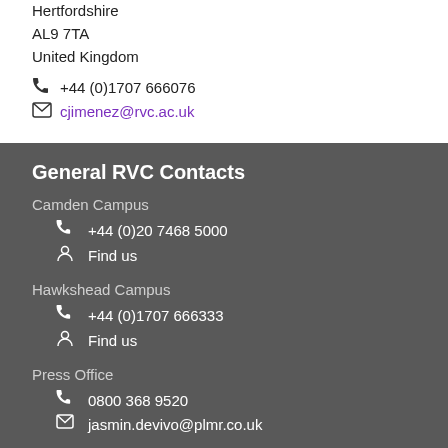Hertfordshire
AL9 7TA
United Kingdom
+44 (0)1707 666076
cjimenez@rvc.ac.uk
General RVC Contacts
Camden Campus
+44 (0)20 7468 5000
Find us
Hawkshead Campus
+44 (0)1707 666333
Find us
Press Office
0800 368 9520
jasmin.devivo@plmr.co.uk